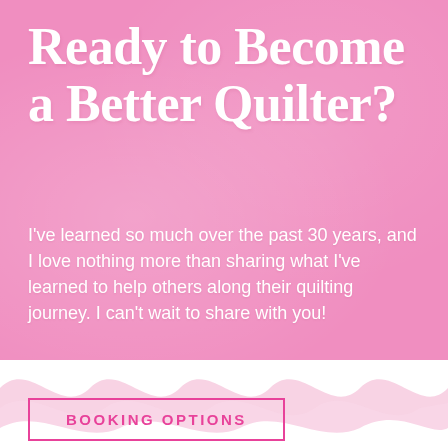Ready to Become a Better Quilter?
I've learned so much over the past 30 years, and I love nothing more than sharing what I've learned to help others along their quilting journey. I can't wait to share with you!
BOOKING OPTIONS